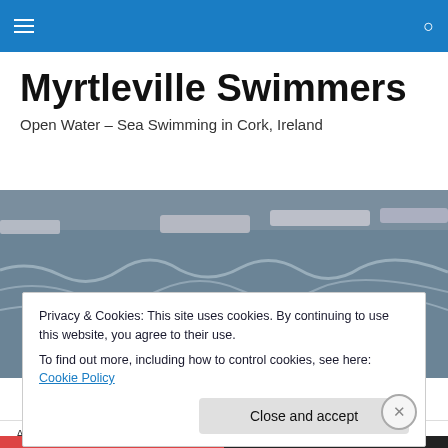Myrtleville Swimmers navigation bar
Myrtleville Swimmers
Open Water – Sea Swimming in Cork, Ireland
[Figure (photo): Aerial/wide shot of many open-water swimmers in the sea with colourful swim caps and boats in the background.]
Privacy & Cookies: This site uses cookies. By continuing to use this website, you agree to their use.
To find out more, including how to control cookies, see here: Cookie Policy
Advertisements